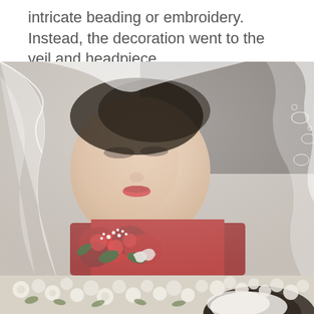intricate beading or embroidery. Instead, the decoration went to the veil and headpiece.
[Figure (photo): Close-up photograph of a bride looking downward, wearing a white lace-edged veil over her face, holding a bouquet of red roses and white baby's breath flowers.]
[Figure (photo): Partial bottom photograph showing a bride with white floral headpiece surrounded by white flowers and greenery.]